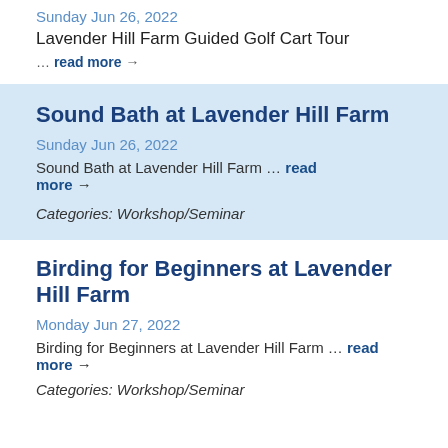Sunday Jun 26, 2022
Lavender Hill Farm Guided Golf Cart Tour
… read more →
Sound Bath at Lavender Hill Farm
Sunday Jun 26, 2022
Sound Bath at Lavender Hill Farm … read more →
Categories: Workshop/Seminar
Birding for Beginners at Lavender Hill Farm
Monday Jun 27, 2022
Birding for Beginners at Lavender Hill Farm … read more →
Categories: Workshop/Seminar